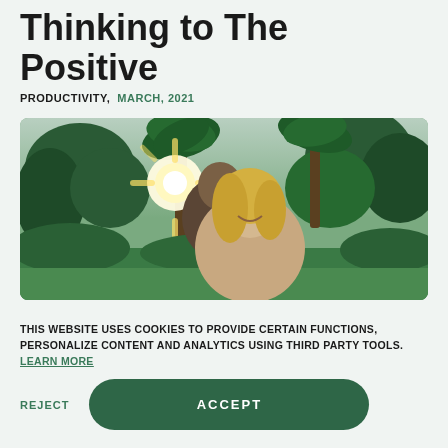Thinking to The Positive
PRODUCTIVITY,  MARCH, 2021
[Figure (photo): A couple outdoors with palm trees and bright sunlight in the background. A smiling blonde woman in the foreground and a man behind her, both appearing happy in a garden setting.]
THIS WEBSITE USES COOKIES TO PROVIDE CERTAIN FUNCTIONS, PERSONALIZE CONTENT AND ANALYTICS USING THIRD PARTY TOOLS. LEARN MORE
REJECT
ACCEPT